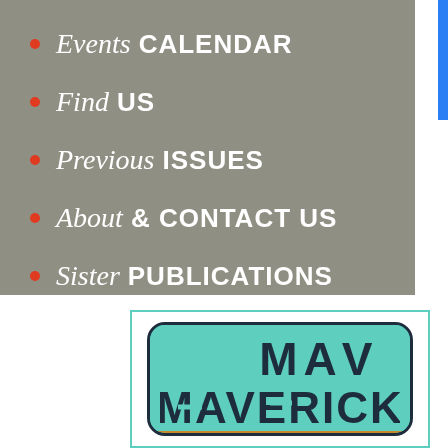Events CALENDAR
Find US
Previous ISSUES
About & CONTACT US
Sister PUBLICATIONS
[Figure (logo): Maverick Construction logo with teal rounded rectangle background, dark navy text 'MAVERICK' on top and 'CONSTRUCTION' in white on orange stripe at bottom. Surrounded by teal border rectangle.]